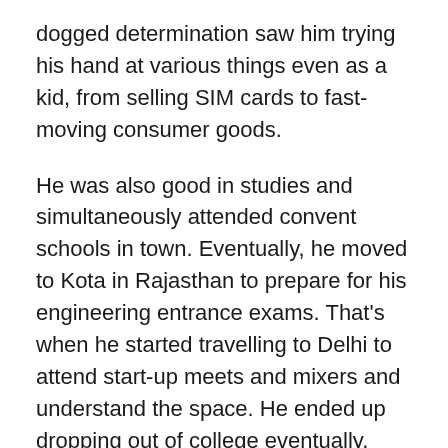dogged determination saw him trying his hand at various things even as a kid, from selling SIM cards to fast-moving consumer goods.
He was also good in studies and simultaneously attended convent schools in town. Eventually, he moved to Kota in Rajasthan to prepare for his engineering entrance exams. That’s when he started travelling to Delhi to attend start-up meets and mixers and understand the space. He ended up dropping out of college eventually, deciding to focus instead on starting something in the travel sector.
[Figure (photo): Outdoor photo showing a tree with green leafy canopy and a partial view of a building or signage in the background]
The spin-off
In 2012, Agarwal